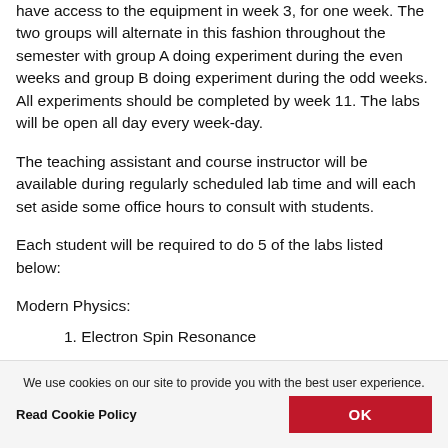have access to the equipment in week 3, for one week. The two groups will alternate in this fashion throughout the semester with group A doing experiment during the even weeks and group B doing experiment during the odd weeks. All experiments should be completed by week 11. The labs will be open all day every week-day.
The teaching assistant and course instructor will be available during regularly scheduled lab time and will each set aside some office hours to consult with students.
Each student will be required to do 5 of the labs listed below:
Modern Physics:
1. Electron Spin Resonance
We use cookies on our site to provide you with the best user experience.
Read Cookie Policy
OK